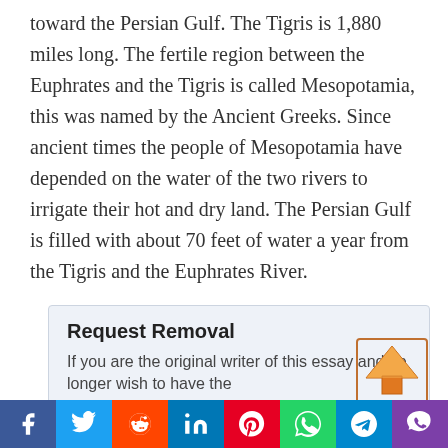toward the Persian Gulf. The Tigris is 1,880 miles long. The fertile region between the Euphrates and the Tigris is called Mesopotamia, this was named by the Ancient Greeks. Since ancient times the people of Mesopotamia have depended on the water of the two rivers to irrigate their hot and dry land. The Persian Gulf is filled with about 70 feet of water a year from the Tigris and the Euphrates River.
Request Removal
If you are the original writer of this essay and no longer wish to have the
[Figure (other): Orange upward arrow upload icon]
[Figure (other): Social media sharing bar with icons: Facebook, Twitter, Reddit, LinkedIn, Pinterest, WhatsApp, Telegram, Viber]